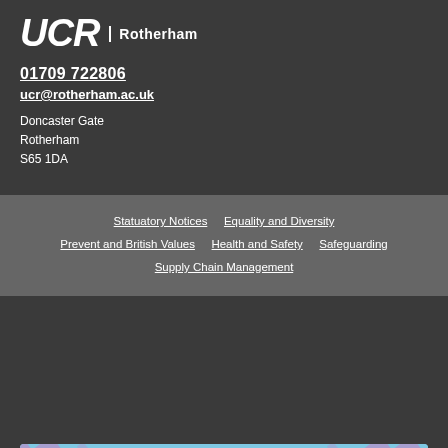[Figure (logo): UCR Rotherham logo — bold italic UCR text with 'Rotherham' to the right]
01709 722806
ucr@rotherham.ac.uk
Doncaster Gate
Rotherham
S65 1DA
Statuatory Notices    Equality and Diversity    Prevent and British Values    Health and Safety    Safeguarding    Supply Chain Management
[Figure (infographic): Blue promotional banner with diagonal pink stripes. Text reads 'UNLOCK YOUR POTENTIAL' and 'FIND OUT MORE →'. Green close button (×) top-left.]